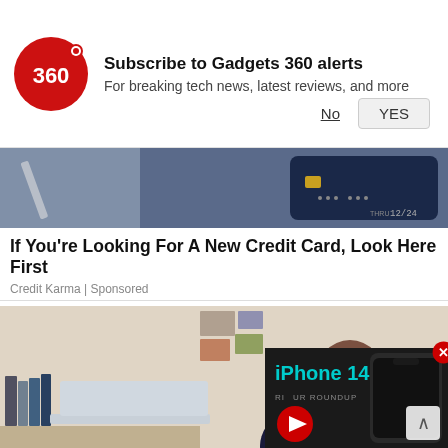[Figure (screenshot): Gadgets 360 logo - red circle with white '360' and red dot]
Subscribe to Gadgets 360 alerts
For breaking tech news, latest reviews, and more
No
YES
[Figure (photo): Partial image of a dark blue credit card on grey background]
If You're Looking For A New Credit Card, Look Here First
Credit Karma | Sponsored
[Figure (photo): Man smiling and talking on phone, sitting at desk with laptop, home office background with red lamp and photos on wall]
[Figure (screenshot): Video overlay: iPhone 14 BUYER'S ROUNDUP with play button on dark background, close button in top-right corner]